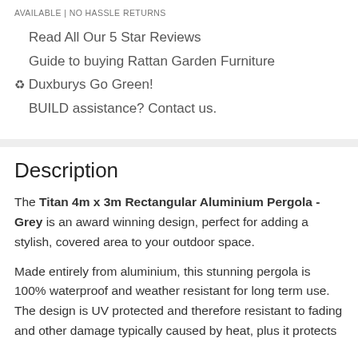AVAILABLE | NO HASSLE RETURNS
Read All Our 5 Star Reviews
Guide to buying Rattan Garden Furniture
♻ Duxburys Go Green!
BUILD assistance? Contact us.
Description
The Titan 4m x 3m Rectangular Aluminium Pergola - Grey is an award winning design, perfect for adding a stylish, covered area to your outdoor space.
Made entirely from aluminium, this stunning pergola is 100% waterproof and weather resistant for long term use. The design is UV protected and therefore resistant to fading and other damage typically caused by heat, plus it protects